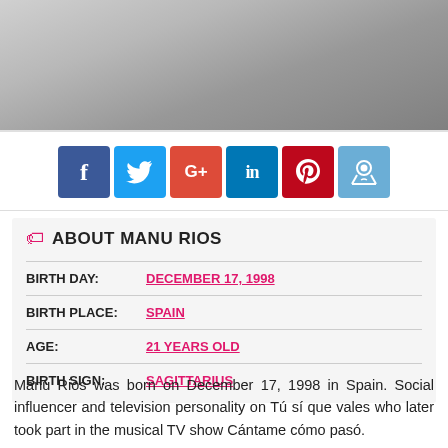[Figure (photo): Black and white photo of Manu Rios, cropped to show head/neck area]
[Figure (infographic): Social media share buttons: Facebook, Twitter, Google+, LinkedIn, Pinterest, Reddit]
ABOUT MANU RIOS
| BIRTH DAY: | DECEMBER 17, 1998 |
| BIRTH PLACE: | SPAIN |
| AGE: | 21 YEARS OLD |
| BIRTH SIGN: | SAGITTARIUS |
Manu Rios was born on December 17, 1998 in Spain. Social influencer and television personality on Tú sí que vales who later took part in the musical TV show Cántame cómo pasó. He has over 850,000 subscribers on his self-titled YouTube channel.